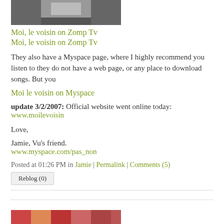[Figure (photo): Partial photo visible at top, dark/greyish image cropped at top edge]
Moi, le voisin on Zomp Tv
Moi, le voisin on Zomp Tv
They also have a Myspace page, where I highly recommend you listen to they do not have a web page, or any place to download songs. But you
Moi le voisin on Myspace
update 3/2/2007: Official website went online today: www.moilevoisin
Love,
Jamie, Vu's friend.
www.myspace.com/pas_non
Posted at 01:26 PM in Jamie | Permalink | Comments (5)
Reblog (0)
[Figure (photo): Partial colorful image at very bottom of page, cropped]